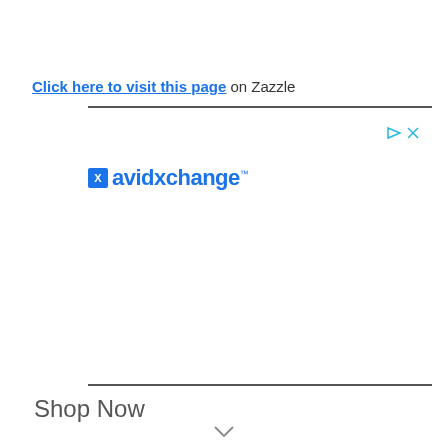Click here to visit this page on Zazzle
[Figure (logo): AvidXchange logo with blue square icon and blue text]
Shop Now